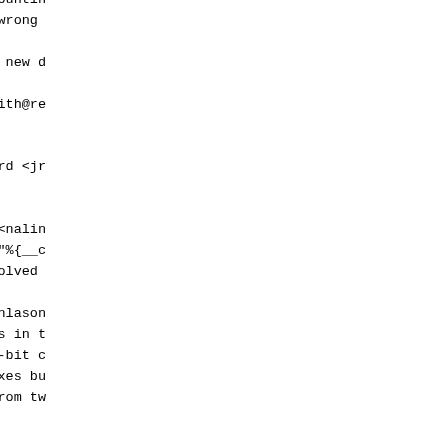more than 10 parameters: the accounting information (and values
  derived from it) were being set wrong. This fixes Red Hat
  bug #86473.
- updated smb.conf patch, includes new d
* Mon Feb 24 2003 Elliot Lee <sopwith@re
- rebuilt
* Thu Feb 20 2003 Jonathan Blandford <jr
- remove swat.desktop file
* Thu Feb 20 2003 Nalin Dahyabhai <nalin
- relink libnss_wins.so with SHLD="%{__c
  link with libnsl, avoiding unresolved
* Mon Feb 10 2003 Jay Fenlason <fenlason
- edited spec file to put .so files in t
  on 64-bit platforms that have 32-bit c
  (sparc64, x86_64, etc).  This fixes bu
- Added samba-2.2.7a-error.patch from tw
  bugzilla #82454.
* Wed Jan 22 2003 Tim Powers <timp@redha
- rebuilt